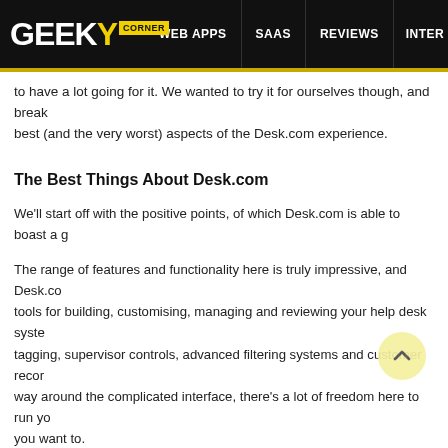GEEKY CORNER | WEB APPS | SAAS | REVIEWS | INTER
to have a lot going for it. We wanted to try it for ourselves though, and break best (and the very worst) aspects of the Desk.com experience.
The Best Things About Desk.com
We'll start off with the positive points, of which Desk.com is able to boast a g
The range of features and functionality here is truly impressive, and Desk.com tools for building, customising, managing and reviewing your help desk syste tagging, supervisor controls, advanced filtering systems and customer recor way around the complicated interface, there's a lot of freedom here to run yo you want to.
In terms of ongoing service, Desk.com seems to be a fairly safe investment. the giants at Salesforce, which doesn't just mean a full integration with Sales hope for a secure future ahead of Desk.com. Compatibility is good, with the p party apps from Olark, MailChimp, Zapier, Campfire and others.